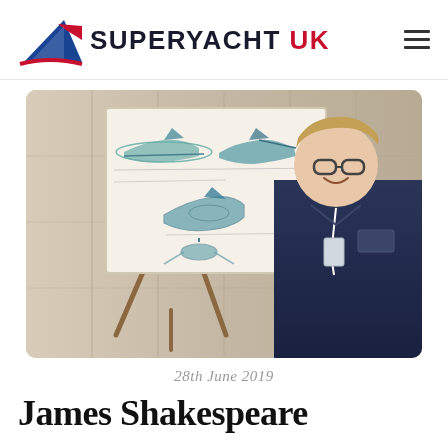SUPERYACHT UK
[Figure (photo): Young man with glasses smiling, standing beside an easel displaying yacht design sketches. The sketches show multiple views of a sleek superyacht concept drawn in pencil with teal/green coloring.]
28th June 2019
James Shakespeare